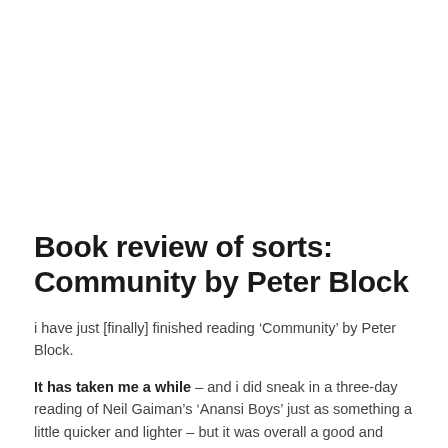Book review of sorts: Community by Peter Block
i have just [finally] finished reading ‘Community’ by Peter Block.
It has taken me a while – and i did sneak in a three-day reading of Neil Gaiman’s ‘Anansi Boys’ just as something a little quicker and lighter – but it was overall a good and